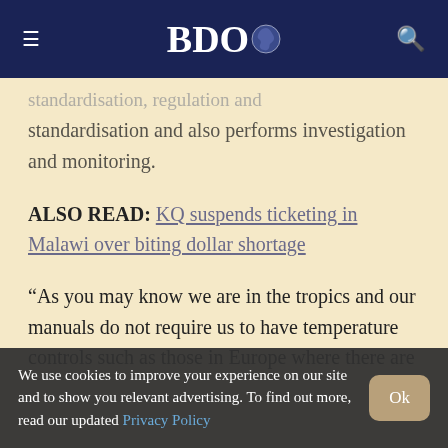BDO
standardisation and also performs investigation and monitoring.
ALSO READ: KQ suspends ticketing in Malawi over biting dollar shortage
“As you may know we are in the tropics and our manuals do not require us to have temperature controls such as those in Europe where there are
We use cookies to improve your experience on our site and to show you relevant advertising. To find out more, read our updated Privacy Policy